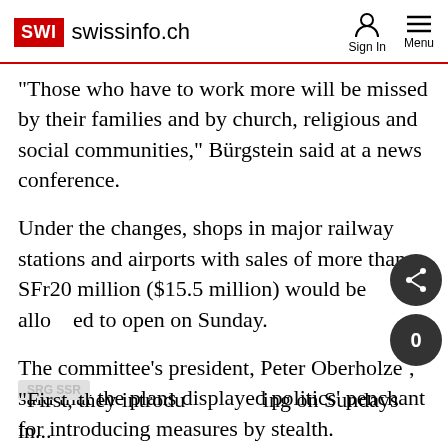SWI swissinfo.ch | Sign In | Menu
"Those who have to work more will be missed by their families and by church, religious and social communities," Bürgstein said at a news conference.
Under the changes, shops in major railway stations and airports with sales of more than SFr20 million ($15.5 million) would be allowed to open on Sunday.
The committee's president, Peter Oberholzer, said that the plans displayed politics' penchant for introducing measures by stealth.
SWI swissinfo.ch is a branch of Swiss Broadcasting Corporation SRG SSR
"First, they introduce shopping on Sundays in...